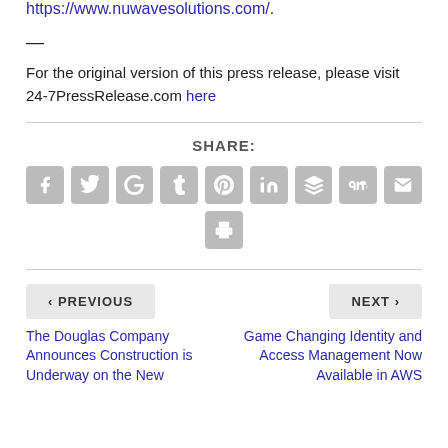https://www.nuwavesolutions.com/.
— For the original version of this press release, please visit 24-7PressRelease.com here
SHARE:
[Figure (infographic): Row of social media share icon buttons: Facebook, Twitter, Google+, Tumblr, Pinterest, LinkedIn, Buffer, StumbleUpon, Email, and a print icon on the second row]
< PREVIOUS
NEXT >
The Douglas Company Announces Construction is Underway on the New
Game Changing Identity and Access Management Now Available in AWS